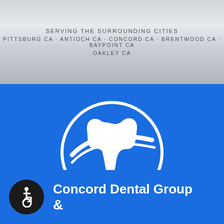SERVING THE SURROUNDING CITIES
PITTSBURG CA · ANTIOCH CA · CONCORD CA · BRENTWOOD CA · BAYPOINT CA
OAKLEY CA
[Figure (logo): Concord Dental Group logo: white tooth icon inside a white circle with swoosh lines, on blue background]
[Figure (logo): Wheelchair accessibility icon: white wheelchair symbol on dark circular background]
Concord Dental Group &